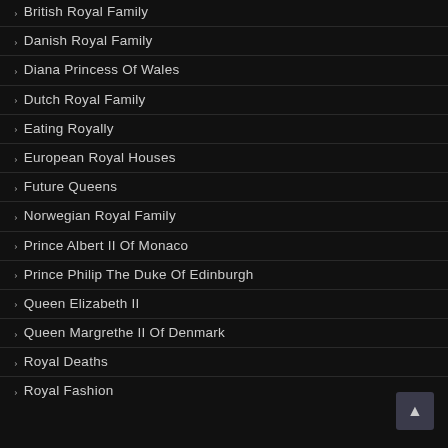British Royal Family
Danish Royal Family
Diana Princess Of Wales
Dutch Royal Family
Eating Royally
European Royal Houses
Future Queens
Norwegian Royal Family
Prince Albert II Of Monaco
Prince Philip The Duke Of Edinburgh
Queen Elizabeth II
Queen Margrethe II Of Denmark
Royal Deaths
Royal Fashion